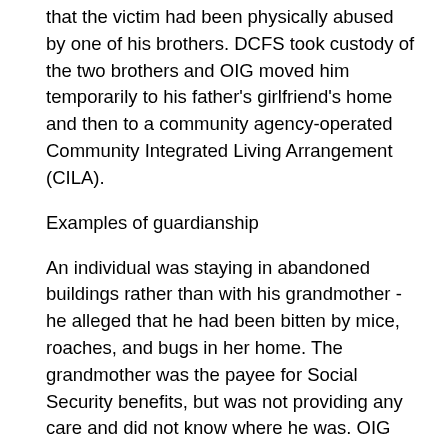that the victim had been physically abused by one of his brothers. DCFS took custody of the two brothers and OIG moved him temporarily to his father's girlfriend's home and then to a community agency-operated Community Integrated Living Arrangement (CILA).
Examples of guardianship
An individual was staying in abandoned buildings rather than with his grandmother - he alleged that he had been bitten by mice, roaches, and bugs in her home. The grandmother was the payee for Social Security benefits, but was not providing any care and did not know where he was. OIG asked the police to locate the victim, found a developmental center that would be able to take him. When the police found him, OIG obtained temporary guardianship and moved him